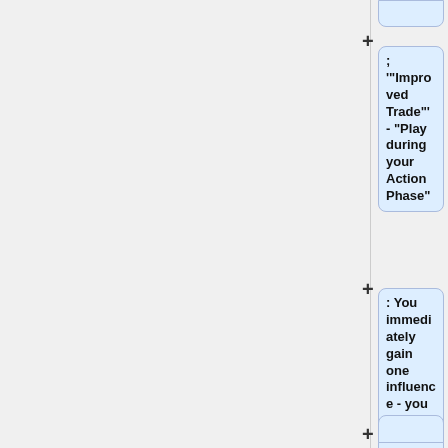; '"Improved Trade"' - "Play during your Action Phase"
: You immediately gain one influence - you do NOT need a good to trade to get this benefit. "The card does NOT provide a Trade to the Leader role if you choose Trade during the Role phase"